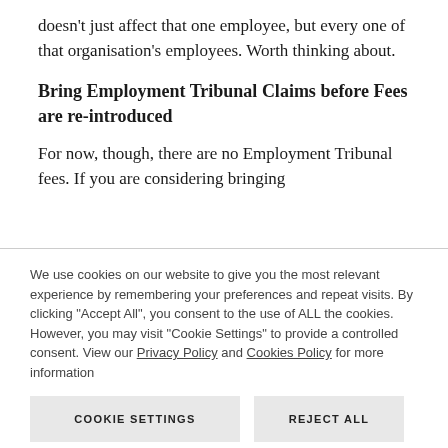doesn't just affect that one employee, but every one of that organisation's employees. Worth thinking about.
Bring Employment Tribunal Claims before Fees are re-introduced
For now, though, there are no Employment Tribunal fees. If you are considering bringing
We use cookies on our website to give you the most relevant experience by remembering your preferences and repeat visits. By clicking "Accept All", you consent to the use of ALL the cookies. However, you may visit "Cookie Settings" to provide a controlled consent. View our Privacy Policy and Cookies Policy for more information